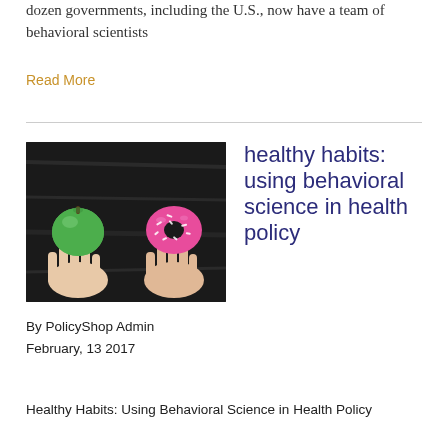dozen governments, including the U.S., now have a team of behavioral scientists
Read More
[Figure (photo): Two hands held out flat, one holding a green apple and the other holding a pink frosted donut with white sprinkles, against a dark wooden background.]
healthy habits: using behavioral science in health policy
By PolicyShop Admin
February, 13 2017
Healthy Habits: Using Behavioral Science in Health Policy